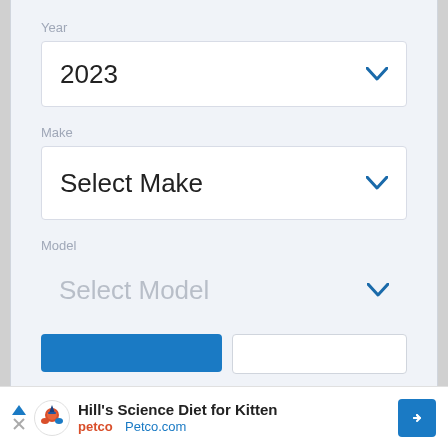Year
2023
Make
Select Make
Model
Select Model
[Figure (screenshot): Advertisement banner for Hill's Science Diet for Kitten at Petco.com, with Petco logo, navigation arrow icon in blue diamond shape, and play/close controls.]